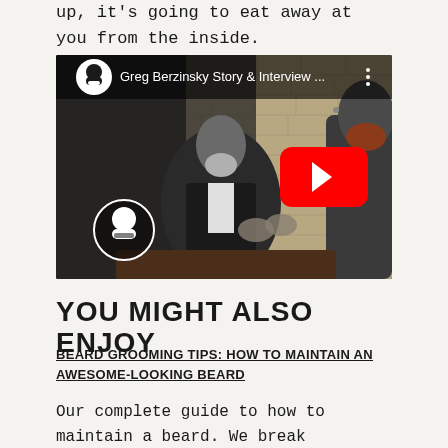up, it's going to eat away at you from the inside.
[Figure (screenshot): YouTube video thumbnail showing two men having a conversation at a table, with a YouTube play button overlay in the center. Video title reads 'Greg Berzinsky Story & Interview ...' with a channel logo icon in the top-left corner.]
YOU MIGHT ALSO ENJOY
BEARD GROOMING TIPS: HOW TO MAINTAIN AN AWESOME-LOOKING BEARD
Our complete guide to how to maintain a beard. We break it down for you while providing the fundamentals of